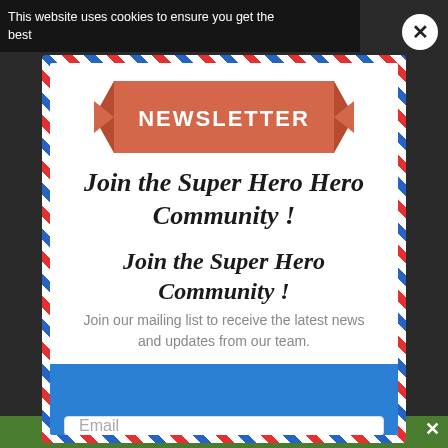This website uses cookies to ensure you get the best
[Figure (infographic): Newsletter signup popup modal with air-mail style border (diagonal red, white, blue stripes), a salmon/coral ribbon banner at the top reading NEWSLETTER, bold italic headline 'Join the Super Hero Community !', subtext 'Join our mailing list to receive the latest news and updates from our team.', a blue lower section with wave cutout, an email input field, and an orange SUBSCRIBE! button. Close X button in top-right circle.]
Share This